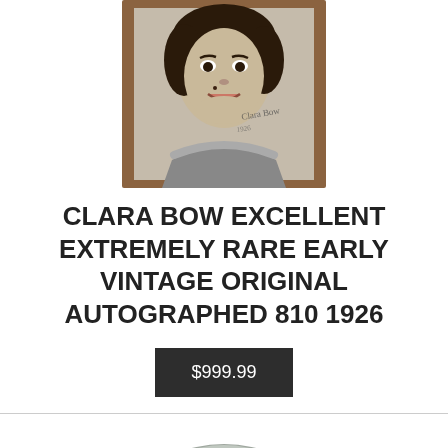[Figure (photo): Black and white vintage portrait photograph of Clara Bow, a smiling woman with dark curly hair, mounted on a wooden backing with an autograph visible on the photo.]
CLARA BOW EXCELLENT EXTREMELY RARE EARLY VINTAGE ORIGINAL AUTOGRAPHED 810 1926
$999.99
[Figure (photo): Partial view of a second auction item at the bottom of the page, appears to be a folded or crumpled metallic/silver fabric item.]